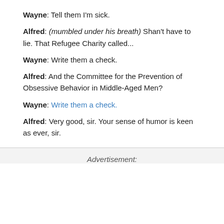Wayne: Tell them I'm sick.
Alfred: (mumbled under his breath) Shan't have to lie. That Refugee Charity called...
Wayne: Write them a check.
Alfred: And the Committee for the Prevention of Obsessive Behavior in Middle-Aged Men?
Wayne: Write them a check.
Alfred: Very good, sir. Your sense of humor is keen as ever, sir.
Advertisement: